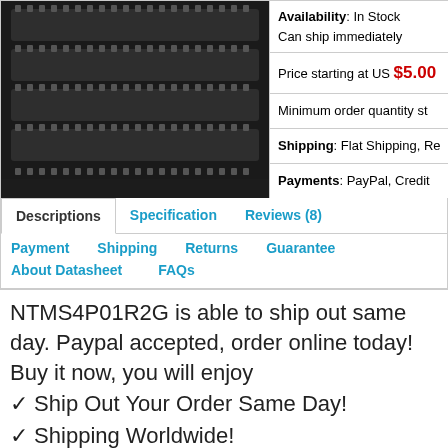[Figure (photo): Close-up photo of electronic IC chips (dark integrated circuits) on a tray]
Availability: In Stock
Can ship immediately
Price starting at US $5.00
Minimum order quantity st
Shipping: Flat Shipping, Re
Payments: PayPal, Credit
Descriptions	Specification	Reviews (8)
Payment	Shipping	Returns	Guarantee
About Datasheet	FAQs
NTMS4P01R2G is able to ship out same day. Paypal accepted, order online today! Buy it now, you will enjoy
✓ Ship Out Your Order Same Day!
✓ Shipping Worldwide!